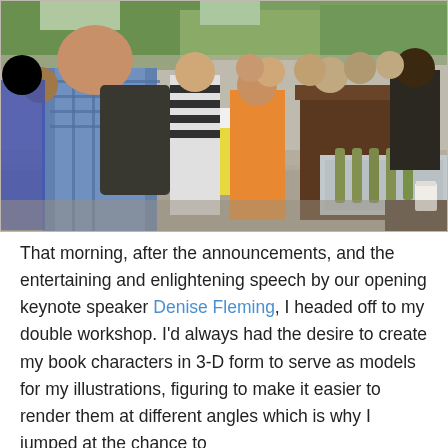[Figure (photo): Outdoor gathering or reception scene with many people standing near a bar/drink station with bottles on ice. Trees visible in background. A man in plaid shirt with backpack is prominent in foreground left.]
That morning, after the announcements, and the entertaining and enlightening speech by our opening keynote speaker Denise Fleming, I headed off to my double workshop. I'd always had the desire to create my book characters in 3-D form to serve as models for my illustrations, figuring to make it easier to render them at different angles which is why I jumped at the chance to